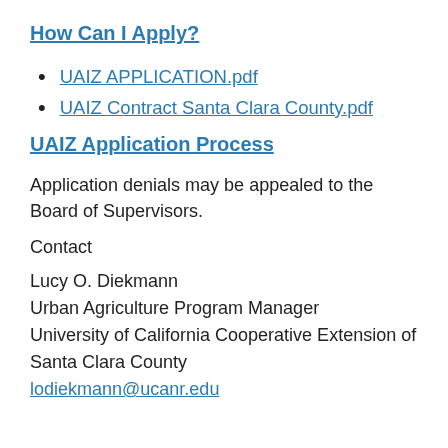How Can I Apply?
UAIZ APPLICATION.pdf
UAIZ Contract Santa Clara County.pdf
UAIZ Application Process
Application denials may be appealed to the Board of Supervisors.
Contact
Lucy O. Diekmann
Urban Agriculture Program Manager
University of California Cooperative Extension of Santa Clara County
lodiekmann@ucanr.edu